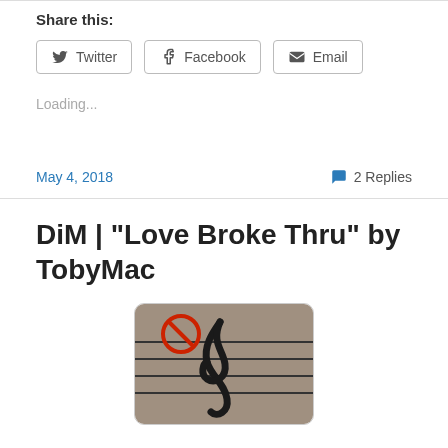Share this:
[Figure (screenshot): Social share buttons: Twitter, Facebook, Email]
Loading...
May 4, 2018
2 Replies
DiM | “Love Broke Thru” by TobyMac
[Figure (photo): Album art showing a treble clef on a stone/wooden surface with a red prohibition symbol overlay]